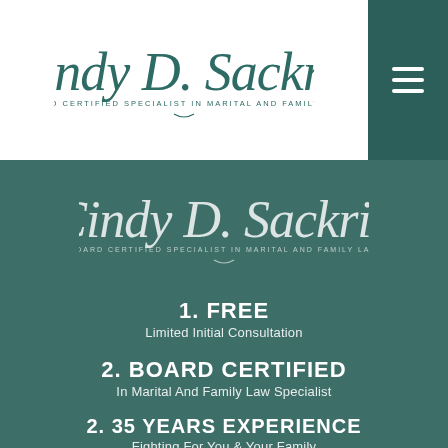[Figure (logo): Cindy D. Sackrin – Board Certified Specialist in Marital and Family Law logo (teal script on white background)]
[Figure (logo): Cindy D. Sackrin – Board Certified Specialist in Marital and Family Law logo (white script on teal background)]
1. FREE
Limited Initial Consultation
2. BOARD CERTIFIED
In Marital And Family Law Specialist
2. 35 YEARS EXPERIENCE
Fighting For You & Your Family